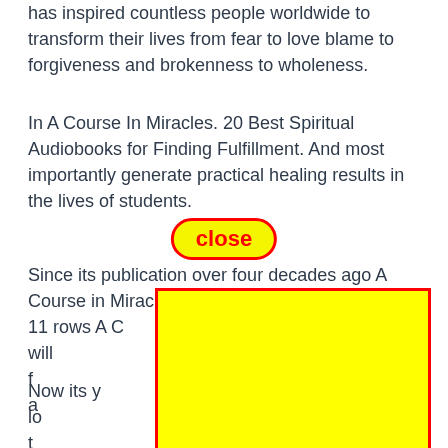has inspired countless people worldwide to transform their lives from fear to love blame to forgiveness and brokenness to wholeness.
In A Course In Miracles. 20 Best Spiritual Audiobooks for Finding Fulfillment. And most importantly generate practical healing results in the lives of students.
[Figure (other): A yellow oval 'close' button with red border and bold red text]
Since its publication over four decades ago A Course in Miracles [obscured by yellow box] de. 11 rows A C[obscured] Stone that will [obscured] unique reader-f[obscured] f the Course a[obscured] ives with the[obscured]
[Figure (other): Large yellow rectangle with red border overlaying part of the text]
Now its y[obscured] will serve lo[obscured] ose seeking t[obscured] s universa[obscured] eal.